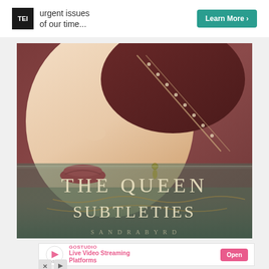[Figure (infographic): Top advertisement banner with logo icon, text reading 'urgent issues of our time...' and a teal 'Learn More >' button]
[Figure (photo): Book cover for 'The Queen of Subtleties' showing a close-up portrait of a woman (Anne Boleyn) wearing red earrings and jeweled necklace against a reddish-brown background, with the book title in large cream/gold letters]
[Figure (infographic): Bottom advertisement for GoStudio - Live Video Streaming Platforms with a pink 'Open' button and GoStudio logo]